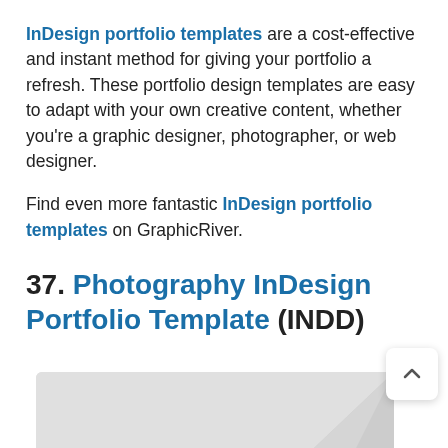InDesign portfolio templates are a cost-effective and instant method for giving your portfolio a refresh. These portfolio design templates are easy to adapt with your own creative content, whether you're a graphic designer, photographer, or web designer.
Find even more fantastic InDesign portfolio templates on GraphicRiver.
37. Photography InDesign Portfolio Template (INDD)
[Figure (photo): Partially visible image of a photography InDesign portfolio template, showing a light gray placeholder with a folded corner effect at the bottom of the page.]